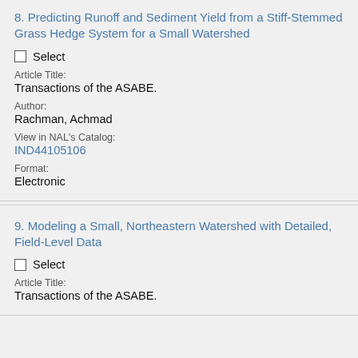8. Predicting Runoff and Sediment Yield from a Stiff-Stemmed Grass Hedge System for a Small Watershed
Select
Article Title:
Transactions of the ASABE.
Author:
Rachman, Achmad
View in NAL's Catalog:
IND44105106
Format:
Electronic
9. Modeling a Small, Northeastern Watershed with Detailed, Field-Level Data
Select
Article Title:
Transactions of the ASABE.